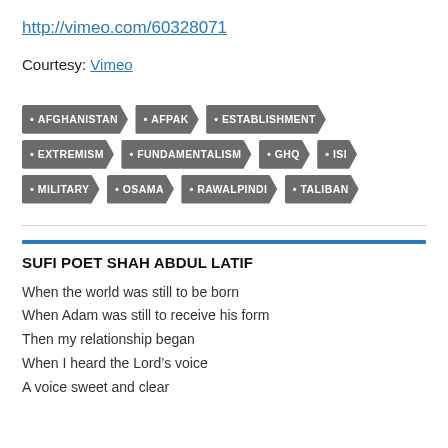http://vimeo.com/60328071
Courtesy: Vimeo
AFGHANISTAN
AFPAK
ESTABLISHMENT
EXTREMISM
FUNDAMENTALISM
GHQ
ISI
MILITARY
OSAMA
RAWALPINDI
TALIBAN
SUFI POET SHAH ABDUL LATIF
When the world was still to be born
When Adam was still to receive his form
Then my relationship began
When I heard the Lord’s voice
A voice sweet and clear